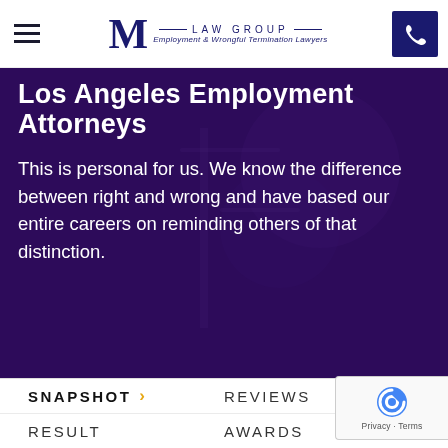M LAW GROUP — Employment & Wrongful Termination Lawyers
Los Angeles Employment Attorneys
This is personal for us. We know the difference between right and wrong and have based our entire careers on reminding others of that distinction.
SNAPSHOT
REVIEWS
RESULT
AWARDS